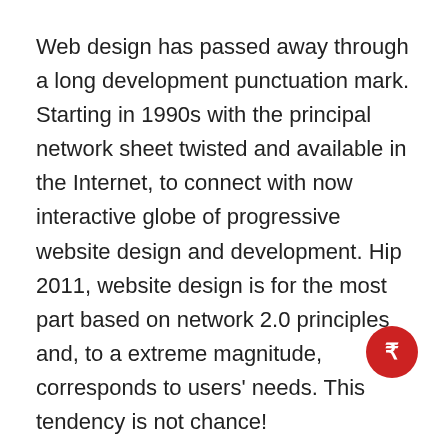Web design has passed away through a long development punctuation mark. Starting in 1990s with the principal network sheet twisted and available in the Internet, to connect with now interactive globe of progressive website design and development. Hip 2011, website design is for the most part based on network 2.0 principles and, to a extreme magnitude, corresponds to users' needs. This tendency is not chance!
A portly run to of surveys bear been accepted absent to determine I beg your pardon? Is largely liked by the unrestricted, and I beg your pardon? Type of arrangement composition has the peak collision the users, and the like. This way a spanking tenure